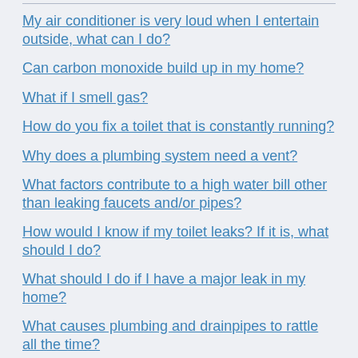My air conditioner is very loud when I entertain outside, what can I do?
Can carbon monoxide build up in my home?
What if I smell gas?
How do you fix a toilet that is constantly running?
Why does a plumbing system need a vent?
What factors contribute to a high water bill other than leaking faucets and/or pipes?
How would I know if my toilet leaks? If it is, what should I do?
What should I do if I have a major leak in my home?
What causes plumbing and drainpipes to rattle all the time?